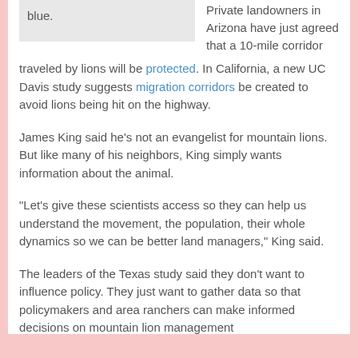blue.
Private landowners in Arizona have just agreed that a 10-mile corridor traveled by lions will be protected. In California, a new UC Davis study suggests migration corridors be created to avoid lions being hit on the highway.
James King said he’s not an evangelist for mountain lions. But like many of his neighbors, King simply wants information about the animal.
“Let’s give these scientists access so they can help us understand the movement, the population, their whole dynamics so we can be better land managers,” King said.
The leaders of the Texas study said they don’t want to influence policy. They just want to gather data so that policymakers and area ranchers can make informed decisions on mountain lion management